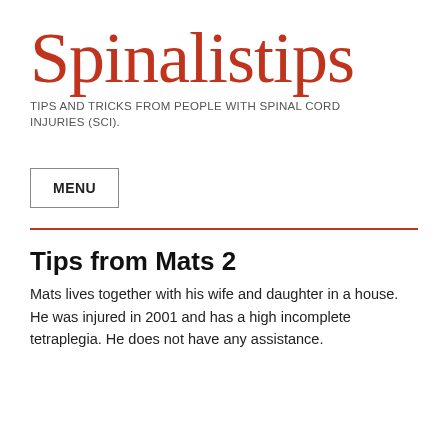Spinalistips
TIPS AND TRICKS FROM PEOPLE WITH SPINAL CORD INJURIES (SCI).
MENU
Tips from Mats 2
Mats lives together with his wife and daughter in a house. He was injured in 2001 and has a high incomplete tetraplegia. He does not have any assistance.